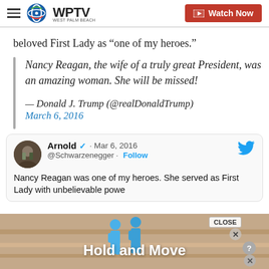WPTV West Palm Beach | Watch Now
beloved First Lady as “one of my heroes.”
Nancy Reagan, the wife of a truly great President, was an amazing woman. She will be missed!

— Donald J. Trump (@realDonaldTrump)
March 6, 2016
[Figure (screenshot): Embedded tweet from Arnold Schwarzenegger (@Schwarzenegger) dated Mar 6, 2016 with verified badge and Follow button, Twitter bird logo. Text: 'Nancy Reagan was one of my heroes. She served as First Lady with unbelievable powe[r]']
[Figure (infographic): Advertisement overlay at bottom of page showing blue 3D figures and text 'Hold and Move' with a CLOSE button and X buttons in the corner]